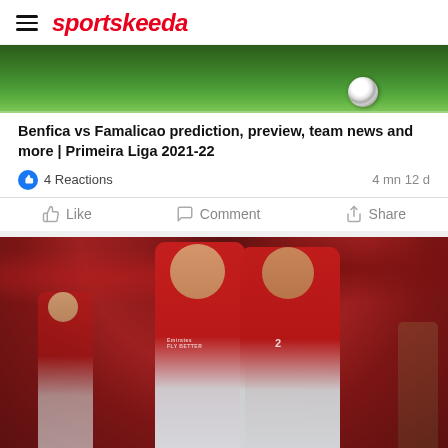sportskeeda
[Figure (photo): Football/soccer pitch with a ball visible on green grass]
Benfica vs Famalicao prediction, preview, team news and more | Primeira Liga 2021-22
4 Reactions   4 mn 12 d
Like   Comment   Share
[Figure (photo): Two Benfica players in red Emirates kits embracing/celebrating on the pitch with crowd in background]
Pop in & Shop New Arrivals
World Market